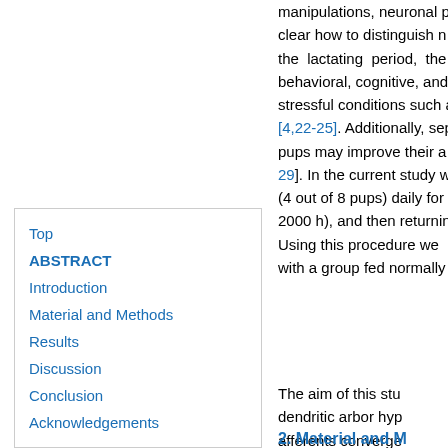manipulations, neuronal p clear how to distinguish n the lactating period, the behavioral, cognitive, and stressful conditions such a [4,22-25]. Additionally, sep pups may improve their a 29]. In the current study w (4 out of 8 pups) daily for 2000 h), and then returnin Using this procedure we with a group fed normally
Top
ABSTRACT
Introduction
Material and Methods
Results
Discussion
Conclusion
Acknowledgements
The aim of this stu dendritic arbor hyp afferents converge the dendritic densi that may correlate
2. Material and M